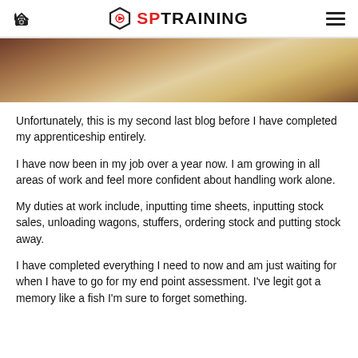SP TRAINING
[Figure (photo): Close-up blurred photo with warm sepia/brown tones, appears to be a person or textured surface.]
Unfortunately, this is my second last blog before I have completed my apprenticeship entirely.
I have now been in my job over a year now. I am growing in all areas of work and feel more confident about handling work alone.
My duties at work include, inputting time sheets, inputting stock sales, unloading wagons, stuffers, ordering stock and putting stock away.
I have completed everything I need to now and am just waiting for when I have to go for my end point assessment. I've legit got a memory like a fish I'm sure to forget something.